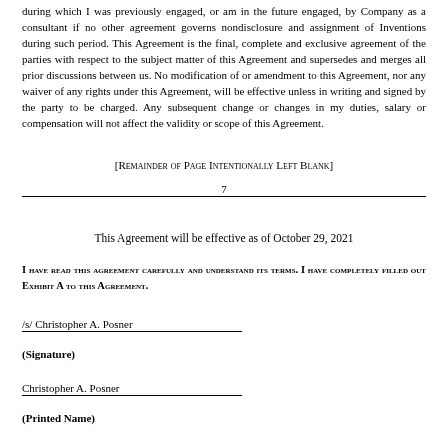during which I was previously engaged, or am in the future engaged, by Company as a consultant if no other agreement governs nondisclosure and assignment of Inventions during such period. This Agreement is the final, complete and exclusive agreement of the parties with respect to the subject matter of this Agreement and supersedes and merges all prior discussions between us. No modification of or amendment to this Agreement, nor any waiver of any rights under this Agreement, will be effective unless in writing and signed by the party to be charged. Any subsequent change or changes in my duties, salary or compensation will not affect the validity or scope of this Agreement.
[Remainder of Page Intentionally Left Blank]
7
This Agreement will be effective as of October 29, 2021
I HAVE READ THIS AGREEMENT CAREFULLY AND UNDERSTAND ITS TERMS. I HAVE COMPLETELY FILLED OUT EXHIBIT A TO THIS AGREEMENT.
/s/ Christopher A. Posner
(Signature)
Christopher A. Posner
(Printed Name)